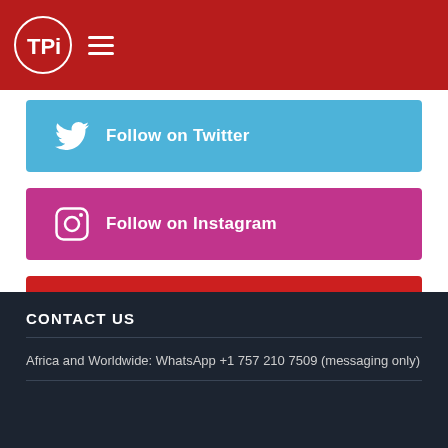TPi
Follow on Twitter
Follow on Instagram
Subscribe on YouTube
CONTACT US
Africa and Worldwide: WhatsApp +1 757 210 7509 (messaging only)